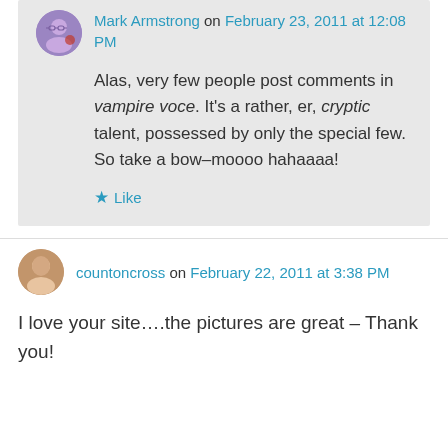Mark Armstrong on February 23, 2011 at 12:08 PM
Alas, very few people post comments in vampire voce. It’s a rather, er, cryptic talent, possessed by only the special few. So take a bow–moooo hahaaaa!
★ Like
countoncross on February 22, 2011 at 3:38 PM
I love your site….the pictures are great – Thank you!